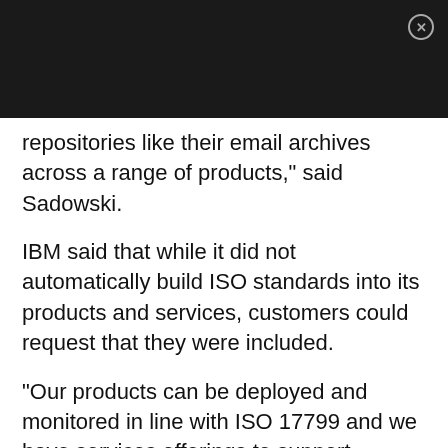repositories like their email archives across a range of products," said Sadowski.
IBM said that while it did not automatically build ISO standards into its products and services, customers could request that they were included.
"Our products can be deployed and monitored in line with ISO 17799 and we have services offerings to support compliance," said Gordon Arnold, product manager at IBM Tivoli Storage. "Certainly many of our systems adhere to strict security certifications like FIPS [federal security standards], in particular for the storage domain."